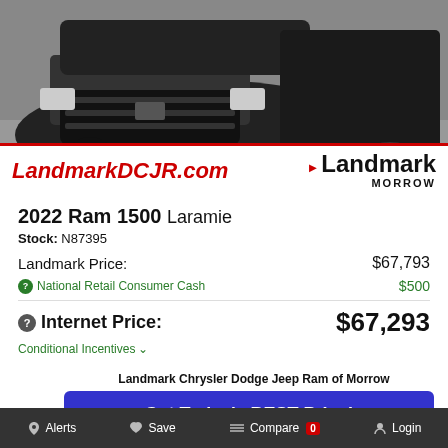[Figure (photo): Front/side view of a black 2022 Ram 1500 truck photographed from the front in a parking lot, with a Landmark DCJR dealer banner overlay at the bottom showing 'LandmarkDCJR.com' in red italic and the Landmark Morrow logo]
2022 Ram 1500 Laramie
Stock: N87395
Landmark Price: $67,793
National Retail Consumer Cash $500
Internet Price: $67,293
Conditional Incentives
Landmark Chrysler Dodge Jeep Ram of Morrow
Get Today's BEST Price!
Alerts  Save  Compare 0  Login